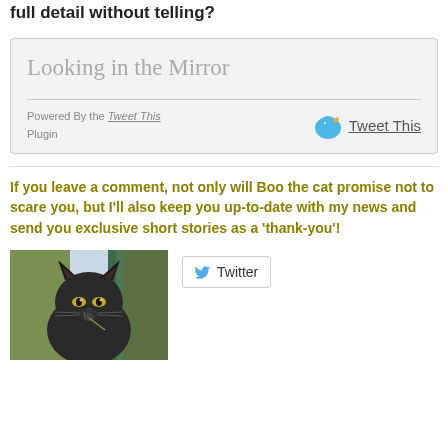full detail without telling?
Looking in the Mirror
Powered By the Tweet This Plugin  Tweet This
If you leave a comment, not only will Boo the cat promise not to scare you, but I'll also keep you up-to-date with my news and send you exclusive short stories as a 'thank-you'!
[Figure (photo): A black cat looking at the camera, photographed outdoors with green foliage in the background]
Twitter